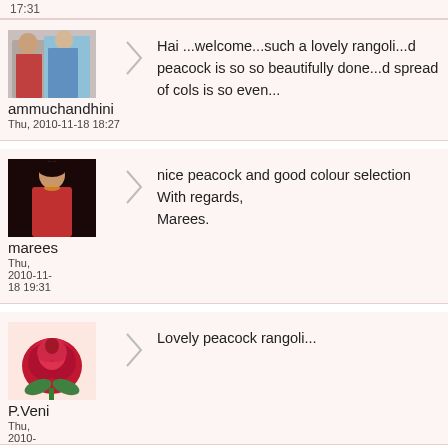17:31
[Figure (photo): Profile photo of a couple, man and woman]
ammuchandhini
Thu, 2010-11-18 18:27
Hai ...welcome...such a lovely rangoli...d peacock is so so beautifully done...d spread of cols is so even...
[Figure (photo): Profile photo of a woman in red]
marees
Thu, 2010-11-18 19:31
nice peacock and good colour selection With regards, Marees.
[Figure (photo): Profile photo of a red rose]
P.Veni
Thu, 2010-
Lovely peacock rangoli...